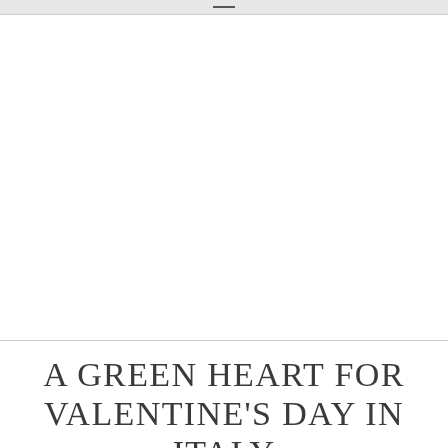A GREEN HEART FOR VALENTINE'S DAY IN ITALY